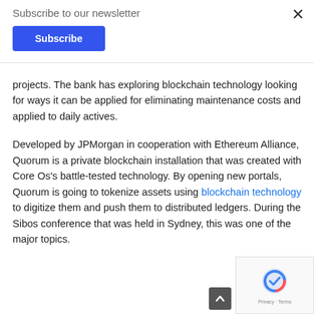Subscribe to our newsletter
Subscribe
projects. The bank has exploring blockchain technology looking for ways it can be applied for eliminating maintenance costs and applied to daily actives.
Developed by JPMorgan in cooperation with Ethereum Alliance, Quorum is a private blockchain installation that was created with Core Os's battle-tested technology. By opening new portals, Quorum is going to tokenize assets using blockchain technology to digitize them and push them to distributed ledgers. During the Sibos conference that was held in Sydney, this was one of the major topics.